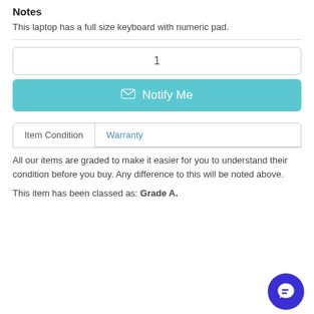Notes
This laptop has a full size keyboard with numeric pad.
1
Notify Me
Item Condition | Warranty
All our items are graded to make it easier for you to understand their condition before you buy. Any difference to this will be noted above.
This item has been classed as: Grade A.